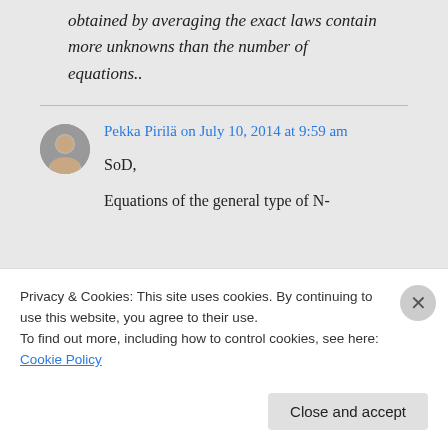obtained by averaging the exact laws contain more unknowns than the number of equations..
Pekka Pirilä on July 10, 2014 at 9:59 am
SoD,
Equations of the general type of N-
Privacy & Cookies: This site uses cookies. By continuing to use this website, you agree to their use.
To find out more, including how to control cookies, see here: Cookie Policy